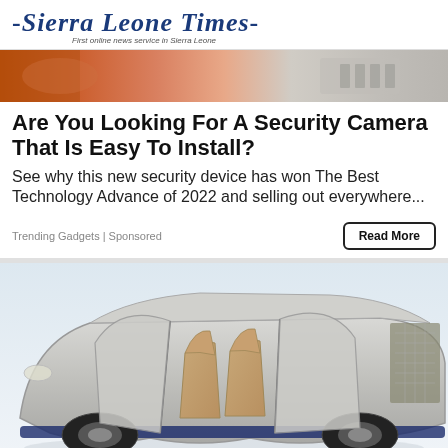-Sierra Leone Times- First online news service in Sierra Leone
[Figure (photo): Close-up photo of hands with orange tool and gray objects, top banner image]
Are You Looking For A Security Camera That Is Easy To Install?
See why this new security device has won The Best Technology Advance of 2022 and selling out everywhere...
Trending Gadgets | Sponsored
Read More
[Figure (photo): Photo of a futuristic silver SUV concept car with all doors open revealing the interior seats, viewed from the side]